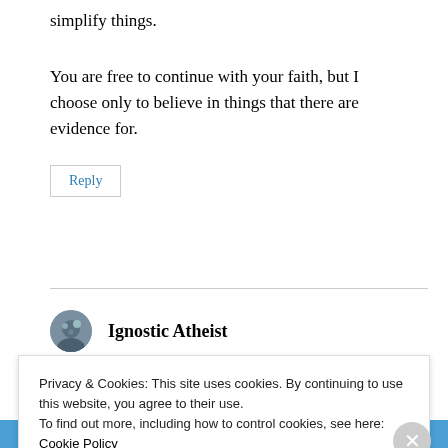simplify things.
You are free to continue with your faith, but I choose only to believe in things that there are evidence for.
Reply
Ignostic Atheist
Privacy & Cookies: This site uses cookies. By continuing to use this website, you agree to their use.
To find out more, including how to control cookies, see here:
Cookie Policy
Close and accept